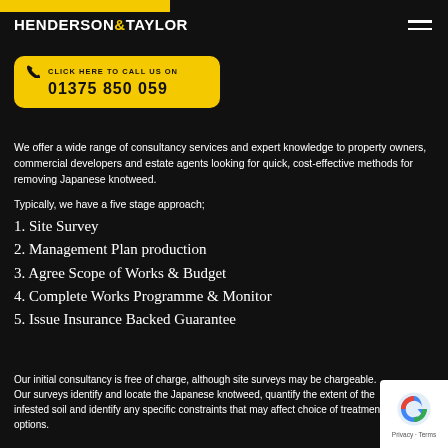HENDERSON & TAYLOR
[Figure (infographic): Yellow rounded rectangle button with phone icon, text 'CLICK HERE TO CALL US ON' and phone number '01375 850 059']
We offer a wide range of consultancy services and expert knowledge to property owners, commercial developers and estate agents looking for quick, cost-effective methods for removing Japanese knotweed.
Typically, we have a five stage approach;
1. Site Survey
2. Management Plan production
3. Agree Scope of Works & Budget
4. Complete Works Programme & Monitor
5. Issue Insurance Backed Guarantee
Our initial consultancy is free of charge, although site surveys may be chargeable. Our surveys identify and locate the Japanese knotweed, quantify the extent of the infested soil and identify any specific constraints that may affect choice of treatment options.